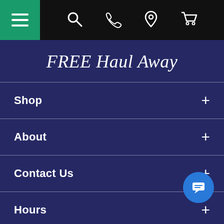Navigation bar with hamburger menu, search, phone, location, and cart icons
FREE Haul Away
Shop +
About +
Contact Us +
Hours +